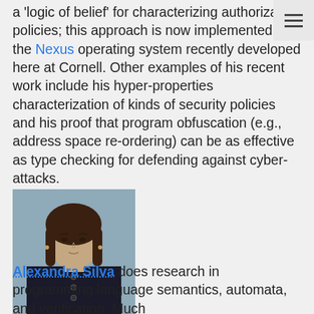a 'logic of belief' for characterizing authorization policies; this approach is now implemented in the Nexus operating system recently developed here at Cornell. Other examples of his recent work include his hyper-properties characterization of kinds of security policies and his proof that program obfuscation (e.g., address space re-ordering) can be as effective as type checking for defending against cyber-attacks.
[Figure (photo): Headshot photo of Alexandra Silva, a woman with shoulder-length brown hair wearing a dark top with button details]
Alexandra Silva does research in programming language semantics, automata, and verification. Much